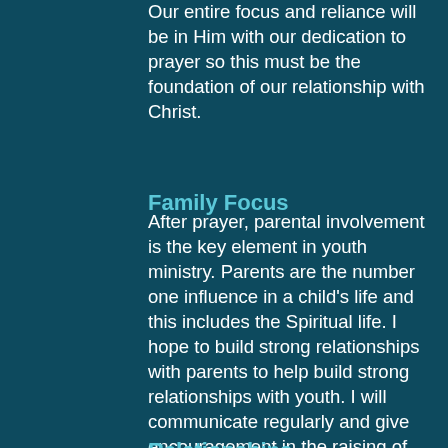Our entire focus and reliance will be in Him with our dedication to prayer so this must be the foundation of our relationship with Christ.
Family Focus
After prayer, parental involvement is the key element in youth ministry. Parents are the number one influence in a child's life and this includes the Spiritual life. I hope to build strong relationships with parents to help build strong relationships with youth. I will communicate regularly and give encouragement in the raising of their children.
Relationships